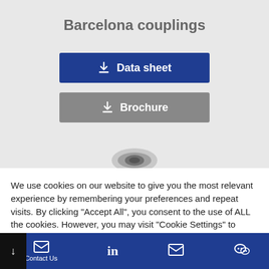Barcelona couplings
Data sheet
Brochure
[Figure (photo): Top-view photo of a Barcelona coupling component (ring/washer shaped metallic part)]
We use cookies on our website to give you the most relevant experience by remembering your preferences and repeat visits. By clicking "Accept All", you consent to the use of ALL the cookies. However, you may visit "Cookie Settings" to provide a controlled consent.
Cookie Settings
Accept All
Contact Us